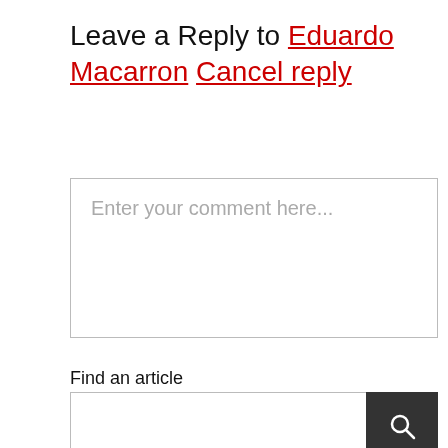Leave a Reply to Eduardo Macarron Cancel reply
[Figure (other): Comment text area input box with placeholder text 'Enter your comment here...']
Find an article
[Figure (other): Search input field with dark search button containing a magnifying glass icon]
Like this blog? Check out our product:
[Figure (logo): Black and white logo with two geometric block shapes resembling a stylized 'io' or app icon and 'TM' trademark symbol]